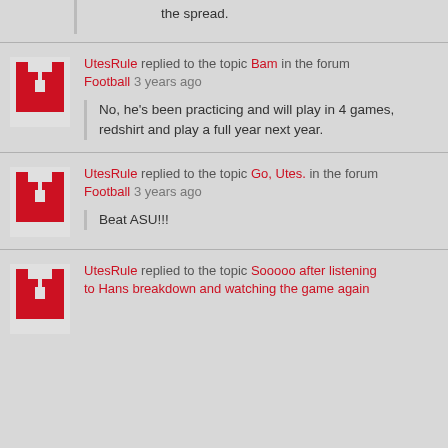the spread.
UtesRule replied to the topic Bam in the forum Football 3 years ago
No, he's been practicing and will play in 4 games, redshirt and play a full year next year.
UtesRule replied to the topic Go, Utes. in the forum Football 3 years ago
Beat ASU!!!
UtesRule replied to the topic Sooooo after listening to Hans breakdown and watching the game again